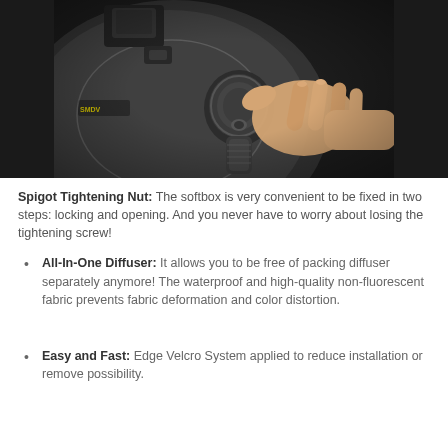[Figure (photo): A hand gripping the spigot tightening nut of an SMDV softbox attached to a flash unit, against a dark background.]
Spigot Tightening Nut: The softbox is very convenient to be fixed in two steps: locking and opening. And you never have to worry about losing the tightening screw!
All-In-One Diffuser: It allows you to be free of packing diffuser separately anymore! The waterproof and high-quality non-fluorescent fabric prevents fabric deformation and color distortion.
Easy and Fast: Edge Velcro System applied to reduce installation or remove possibility.